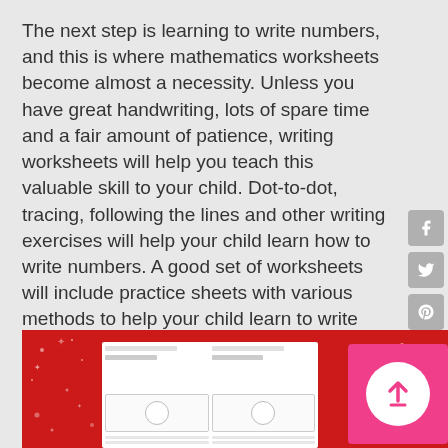The next step is learning to write numbers, and this is where mathematics worksheets become almost a necessity. Unless you have great handwriting, lots of spare time and a fair amount of patience, writing worksheets will help you teach this valuable skill to your child. Dot-to-dot, tracing, following the lines and other writing exercises will help your child learn how to write numbers. A good set of worksheets will include practice sheets with various methods to help your child learn to write numbers.
[Figure (illustration): Red Christmas-themed background with white snowflake/dot decorations and a worksheet preview showing two columns with plate settings and lines, plus a pink upload/scroll-up button in the bottom right corner.]